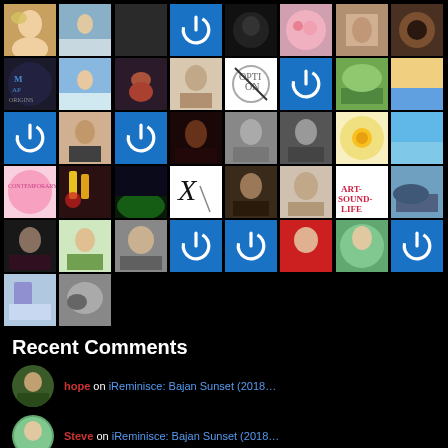[Figure (photo): Grid of avatar/profile images arranged in 8 columns and 5 rows on black background. Mix of portrait photos, nature images, and blue WordPress default avatar icons.]
Recent Comments
hope on iReminisce: Bajan Sunset (2018…
Steve on iReminisce: Bajan Sunset (2018…